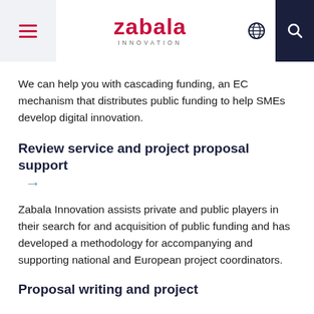Zabala Innovation
We can help you with cascading funding, an EC mechanism that distributes public funding to help SMEs develop digital innovation.
Review service and project proposal support →
Zabala Innovation assists private and public players in their search for and acquisition of public funding and has developed a methodology for accompanying and supporting national and European project coordinators.
Proposal writing and project